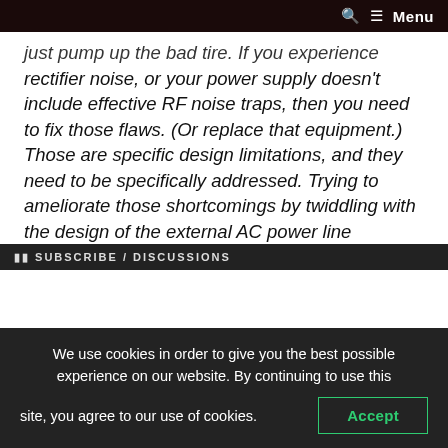🔍 ☰ Menu
just pump up the bad tire. If you experience rectifier noise, or your power supply doesn't include effective RF noise traps, then you need to fix those flaws. (Or replace that equipment.) Those are specific design limitations, and they need to be specifically addressed. Trying to ameliorate those shortcomings by twiddling with the design of the external AC power line is not the right route to a solution."
We use cookies in order to give you the best possible experience on our website. By continuing to use this site, you agree to our use of cookies.
Accept